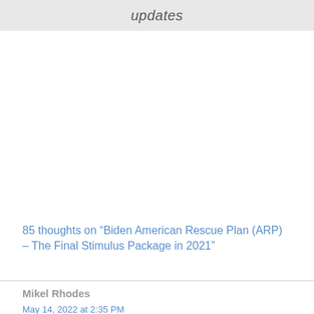updates
85 thoughts on “Biden American Rescue Plan (ARP) – The Final Stimulus Package in 2021”
Mikel Rhodes
May 14, 2022 at 2:35 PM